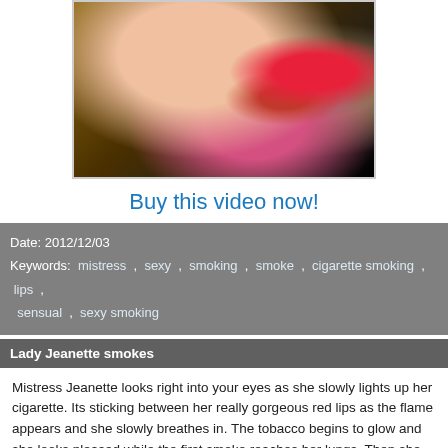[Figure (photo): Close-up photo of a woman with red lips and red nails holding a cigar/cigarette to her mouth, with red hair visible, dark and gold background]
Buy this video now!
Date: 2012/12/03
Keywords: mistress , sexy , smoking , smoke , cigarette smoking , lips , sensual , sexy smoking
Lady Jeanette smokes
Mistress Jeanette looks right into your eyes as she slowly lights up her cigarette. Its sticking between her really gorgeous red lips as the flame appears and she slowly breathes in. The tobacco begins to glow and she looks pleased while the first smoke reaches her lungs. Then she breathes the smoke out, back into your face